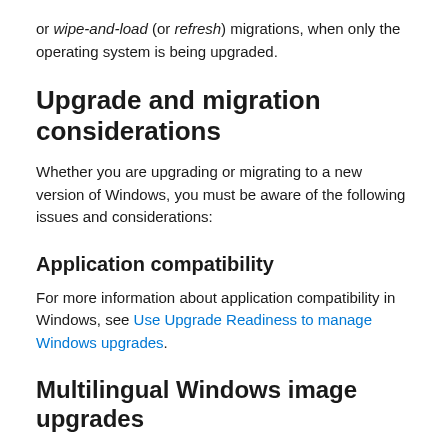or wipe-and-load (or refresh) migrations, when only the operating system is being upgraded.
Upgrade and migration considerations
Whether you are upgrading or migrating to a new version of Windows, you must be aware of the following issues and considerations:
Application compatibility
For more information about application compatibility in Windows, see Use Upgrade Readiness to manage Windows upgrades.
Multilingual Windows image upgrades